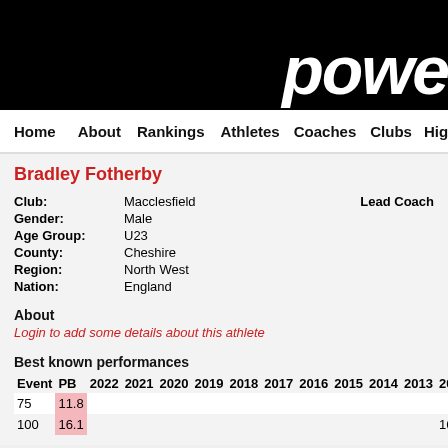powe
Home About Rankings Athletes Coaches Clubs Highlights
Bradley Fotherby
| Field | Value |  |
| --- | --- | --- |
| Club: | Macclesfield | Lead Coach |
| Gender: | Male |  |
| Age Group: | U23 |  |
| County: | Cheshire |  |
| Region: | North West |  |
| Nation: | England |  |
About
Login to add some details about this athlete
Best known performances
| Event | PB | 2022 | 2021 | 2020 | 2019 | 2018 | 2017 | 2016 | 2015 | 2014 | 2013 | 201... |
| --- | --- | --- | --- | --- | --- | --- | --- | --- | --- | --- | --- | --- |
| 75 | 11.8 |  |  |  |  |  |  |  |  |  |  |  |
| 100 | 16.1 |  |  |  |  |  |  |  |  |  |  | 16 |